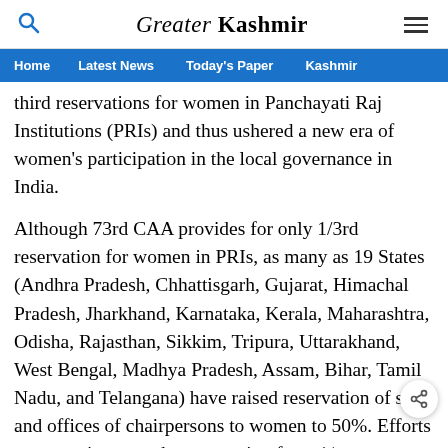Greater Kashmir
Home  Latest News  Today's Paper  Kashmir
third reservations for women in Panchayati Raj Institutions (PRIs) and thus ushered a new era of women's participation in the local governance in India.
Although 73rd CAA provides for only 1/3rd reservation for women in PRIs, as many as 19 States (Andhra Pradesh, Chhattisgarh, Gujarat, Himachal Pradesh, Jharkhand, Karnataka, Kerala, Maharashtra, Odisha, Rajasthan, Sikkim, Tripura, Uttarakhand, West Bengal, Madhya Pradesh, Assam, Bihar, Tamil Nadu, and Telangana) have raised reservation of seats and offices of chairpersons to women to 50%. Efforts are on to increase the reservation from 1/...